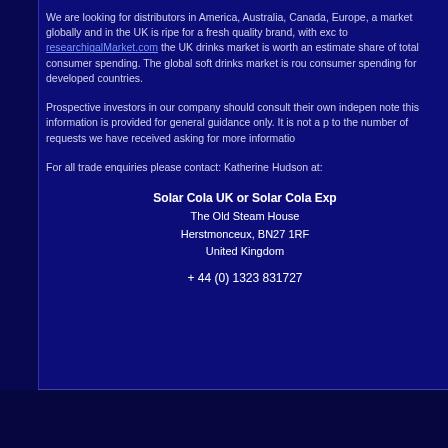We are looking for distributors in America, Australia, Canada, Europe, a market globally and in the UK is ripe for a fresh quality brand, with exc to researchigalMarket.com the UK drinks market is worth an estimate share of total consumer spending. The global soft drinks market is rou consumer spending for developed countries.
Prospective investors in our company should consult their own indepen note this information is provided for general guidance only. It is not a p to the number of requests we have received asking for more informatio
For all trade enquiries please contact: Katherine Hudson  at:
Solar Cola UK or Solar Cola Exp
The Old Steam House
Herstmonceux, BN27 1RF
United Kingdom

+ 44 (0) 1323 831727